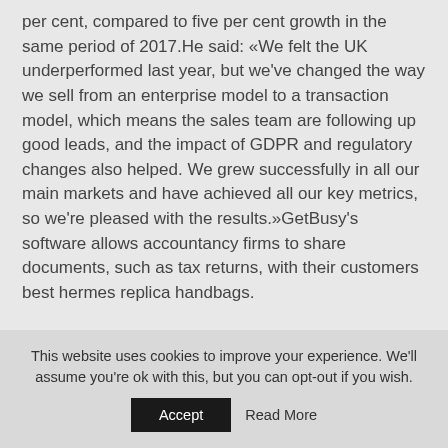per cent, compared to five per cent growth in the same period of 2017.He said: «We felt the UK underperformed last year, but we've changed the way we sell from an enterprise model to a transaction model, which means the sales team are following up good leads, and the impact of GDPR and regulatory changes also helped. We grew successfully in all our main markets and have achieved all our key metrics, so we're pleased with the results.»GetBusy's software allows accountancy firms to share documents, such as tax returns, with their customers best hermes replica handbags.
This website uses cookies to improve your experience. We'll assume you're ok with this, but you can opt-out if you wish.